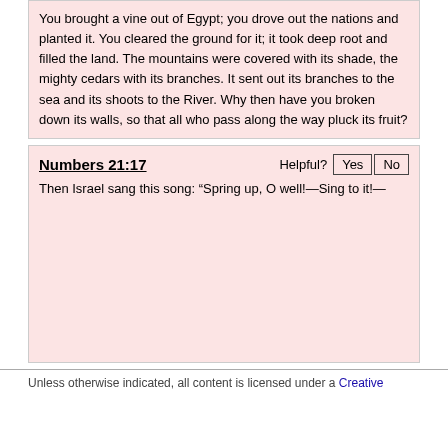You brought a vine out of Egypt; you drove out the nations and planted it. You cleared the ground for it; it took deep root and filled the land. The mountains were covered with its shade, the mighty cedars with its branches. It sent out its branches to the sea and its shoots to the River. Why then have you broken down its walls, so that all who pass along the way pluck its fruit?
Numbers 21:17
Then Israel sang this song: “Spring up, O well!—Sing to it!—
Unless otherwise indicated, all content is licensed under a Creative